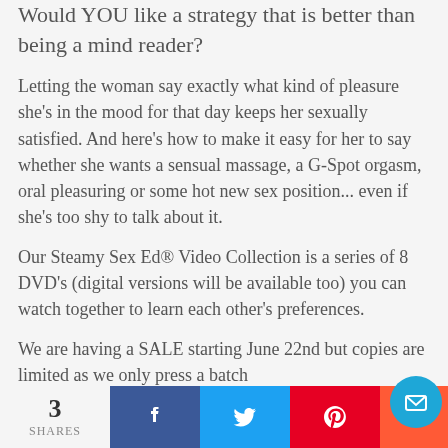Would YOU like a strategy that is better than being a mind reader?
Letting the woman say exactly what kind of pleasure she's in the mood for that day keeps her sexually satisfied. And here's how to make it easy for her to say whether she wants a sensual massage, a G-Spot orgasm, oral pleasuring or some hot new sex position... even if she's too shy to talk about it.
Our Steamy Sex Ed® Video Collection is a series of 8 DVD's (digital versions will be available too) you can watch together to learn each other's preferences.
We are having a SALE starting June 22nd but copies are limited as we only press a batch
3 SHARES | Facebook | Twitter | Pinterest | Mail